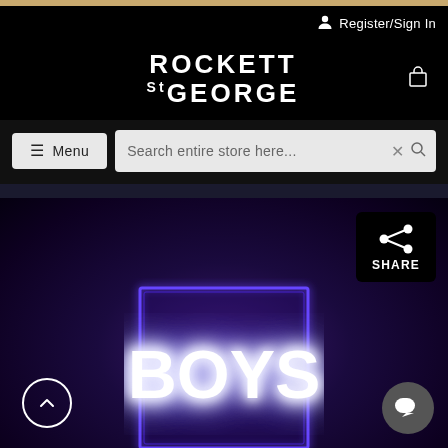Register/Sign In
ROCKETT St GEORGE
[Figure (screenshot): E-commerce website screenshot for Rockett St George showing navigation header with menu button, search bar, and a product image of a neon 'BOYS' sign in a purple-lit acrylic box]
Menu
Search entire store here...
SHARE